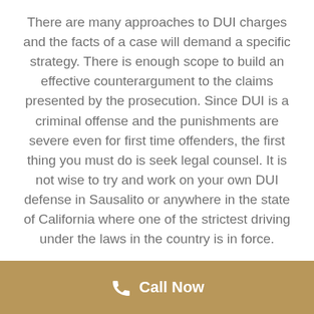There are many approaches to DUI charges and the facts of a case will demand a specific strategy. There is enough scope to build an effective counterargument to the claims presented by the prosecution. Since DUI is a criminal offense and the punishments are severe even for first time offenders, the first thing you must do is seek legal counsel. It is not wise to try and work on your own DUI defense in Sausalito or anywhere in the state of California where one of the strictest driving under the laws in the country is in force.
Our DUI lawyers swing into action immediately after the incident is reported. Time is of essence in such cases as the scene needs to be visited and inspected, eyewitnesses must be found and talked to, facts must be investigated and all evidences should be taken into consideration to
Call Now